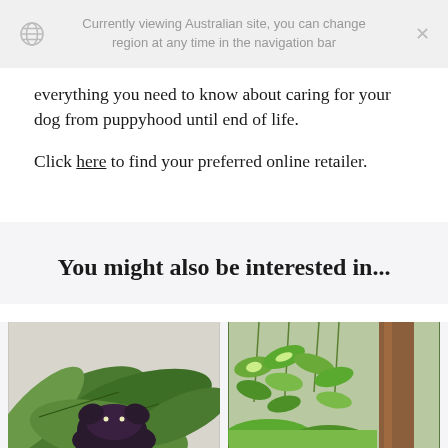Currently viewing Australian site, you can change region at any time in the navigation bar
everything you need to know about caring for your dog from puppyhood until end of life.
Click here to find your preferred online retailer.
You might also be interested in...
[Figure (photo): Two photos side by side: left shows a dog among tropical green leaves (calathea/banana leaf), right shows a cat or animal among hanging green vines and a tree trunk]